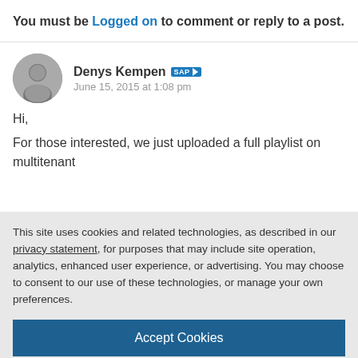You must be Logged on to comment or reply to a post.
Denys Kempen [SAP badge] June 15, 2015 at 1:08 pm
Hi,
For those interested, we just uploaded a full playlist on multitenant
This site uses cookies and related technologies, as described in our privacy statement, for purposes that may include site operation, analytics, enhanced user experience, or advertising. You may choose to consent to our use of these technologies, or manage your own preferences.
Accept Cookies
More Information
Privacy Policy | Powered by: TrustArc